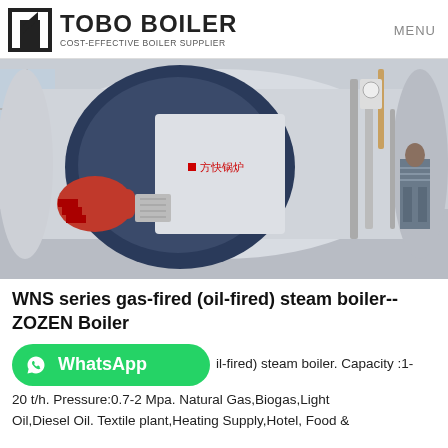TOBO BOILER — COST-EFFECTIVE BOILER SUPPLIER | MENU
[Figure (photo): Industrial WNS series gas-fired steam boiler in a factory setting. A large cylindrical boiler with a red burner on the front left. A person stands behind the boiler next to pipe equipment on the right.]
WNS series gas-fired (oil-fired) steam boiler-- ZOZEN Boiler
[Figure (logo): WhatsApp button (green rounded rectangle with WhatsApp icon and label)]
il-fired) steam boiler. Capacity :1-20 t/h. Pressure:0.7-2 Mpa. Natural Gas,Biogas,Light Oil,Diesel Oil. Textile plant,Heating Supply,Hotel, Food &